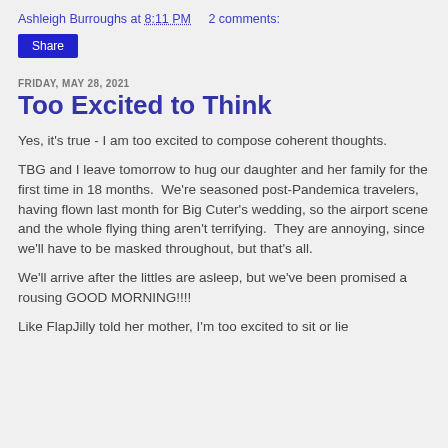Ashleigh Burroughs at 8:11 PM   2 comments:
Share
FRIDAY, MAY 28, 2021
Too Excited to Think
Yes, it's true - I am too excited to compose coherent thoughts.
TBG and I leave tomorrow to hug our daughter and her family for the first time in 18 months.  We're seasoned post-Pandemica travelers, having flown last month for Big Cuter's wedding, so the airport scene and the whole flying thing aren't terrifying.  They are annoying, since we'll have to be masked throughout, but that's all.
We'll arrive after the littles are asleep, but we've been promised a rousing GOOD MORNING!!!!
Like FlapJilly told her mother, I'm too excited to sit or lie